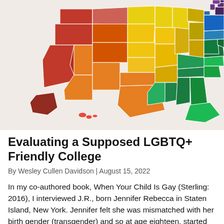[Figure (map): A choropleth map of the United States colored in rainbow/pride flag colors. Western states (CA, OR, WA, NV, ID, MT, WY, CO, AZ, NM, UT) are colored in shades of red and dark red. Central and south-central states are orange and yellow. Midwestern and northern plains states are yellow and light yellow. Southeastern states are shades of green. Northeastern states (NY, CT, MA, RI, VT, NH, ME) are blue and purple. Alaska is dark red, Hawaii is partially visible.]
Evaluating a Supposed LGBTQ+ Friendly College
By Wesley Cullen Davidson | August 15, 2022
In my co-authored book, When Your Child Is Gay (Sterling: 2016), I interviewed J.R., born Jennifer Rebecca in Staten Island, New York. Jennifer felt she was mismatched with her birth gender (transgender) and so at age eighteen, started hormone treatments...